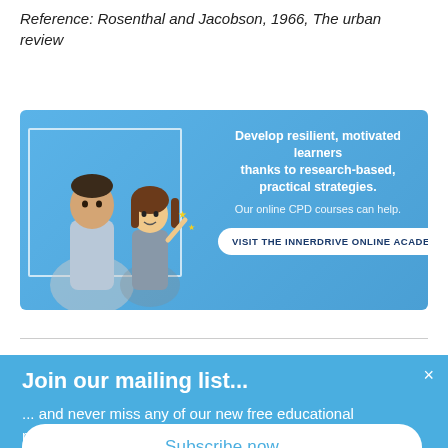Reference: Rosenthal and Jacobson, 1966, The urban review
[Figure (illustration): Advertisement banner for InnerDrive Online Academy with blue background, a man and cartoon character on the left, and text 'Develop resilient, motivated learners thanks to research-based, practical strategies. Our online CPD courses can help.' with a button 'VISIT THE INNERDRIVE ONLINE ACADEMY']
Join our mailing list...
... and never miss any of our new free educational resources.
Subscribe now